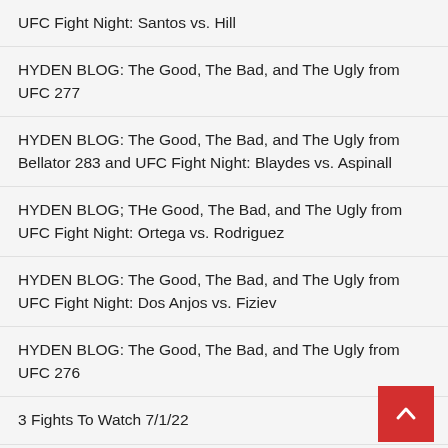UFC Fight Night: Santos vs. Hill
HYDEN BLOG: The Good, The Bad, and The Ugly from UFC 277
HYDEN BLOG: The Good, The Bad, and The Ugly from Bellator 283 and UFC Fight Night: Blaydes vs. Aspinall
HYDEN BLOG; THe Good, The Bad, and The Ugly from UFC Fight Night: Ortega vs. Rodriguez
HYDEN BLOG: The Good, The Bad, and The Ugly from UFC Fight Night: Dos Anjos vs. Fiziev
HYDEN BLOG: The Good, The Bad, and The Ugly from UFC 276
3 Fights To Watch 7/1/22
HYDEN BLOG: The Good, The Bad, and The Ugly from Bellator 282 and UFC Fight Night: Tsarukyan vs. Gamrot
HYDEN BLOG: The Good, The Bad, and The Ugly from